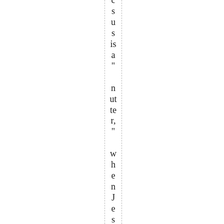s u s is a " n ut te r, " w h e n J e s u s to u c h s